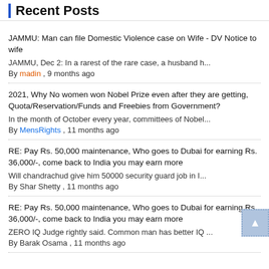Recent Posts
JAMMU: Man can file Domestic Violence case on Wife - DV Notice to wife
JAMMU, Dec 2: In a rarest of the rare case, a husband h...
By madin , 9 months ago
2021, Why No women won Nobel Prize even after they are getting, Quota/Reservation/Funds and Freebies from Government?
In the month of October every year, committees of Nobel...
By MensRights , 11 months ago
RE: Pay Rs. 50,000 maintenance, Who goes to Dubai for earning Rs. 36,000/-, come back to India you may earn more
Will chandrachud give him 50000 security guard job in I...
By Shar Shetty , 11 months ago
RE: Pay Rs. 50,000 maintenance, Who goes to Dubai for earning Rs. 36,000/-, come back to India you may earn more
ZERO IQ Judge rightly said. Common man has better IQ ...
By Barak Osama , 11 months ago